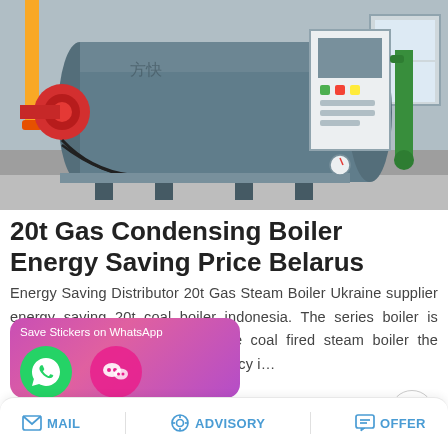[Figure (photo): Industrial 20t gas condensing boiler in a factory setting, showing a large horizontal blue/grey boiler vessel with red burner, control panel, green pipes, and yellow gas supply lines.]
20t Gas Condensing Boiler Energy Saving Price Belarus
Energy Saving Distributor 20t Gas Steam Boiler Ukraine supplier energy saving 20t coal boiler indonesia. The series boiler is horizontal 3 pass water fire tube coal fired steam boiler the capacity is 1-20t/h. thermal efficiency i…
[Figure (screenshot): Save Stickers on WhatsApp promotional banner with phone icon and WeChat icon, pink/purple gradient background.]
MAIL   ADVISORY   OFFER